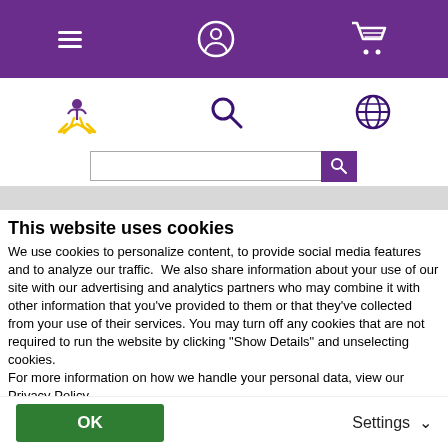[Figure (screenshot): Purple top navigation bar with hamburger menu icon, user account icon, and shopping cart icon]
[Figure (screenshot): White secondary navigation bar with brand logo (sun/person figure), search magnifier icon, and globe icon]
[Figure (screenshot): Search input bar with purple search button]
This website uses cookies
We use cookies to personalize content, to provide social media features and to analyze our traffic.  We also share information about your use of our site with our advertising and analytics partners who may combine it with other information that you've provided to them or that they've collected from your use of their services. You may turn off any cookies that are not required to run the website by clicking “Show Details” and unselecting cookies.
For more information on how we handle your personal data, view our Privacy Policy.
OK
Settings